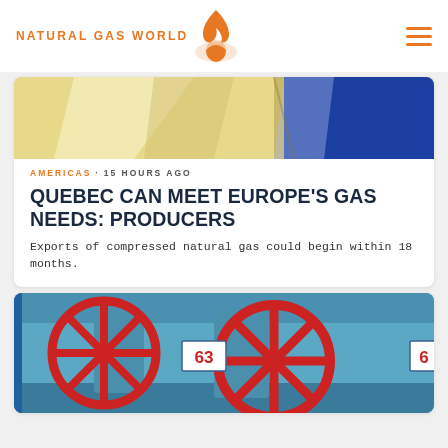NATURAL GAS WORLD
[Figure (photo): Partial view of a flag with yellow and blue colors, likely a European flag]
AMERICAS · 15 HOURS AGO
QUEBEC CAN MEET EUROPE'S GAS NEEDS: PRODUCERS
Exports of compressed natural gas could begin within 18 months.
[Figure (photo): Red industrial valve wheels with number 63 label on blue machinery background]